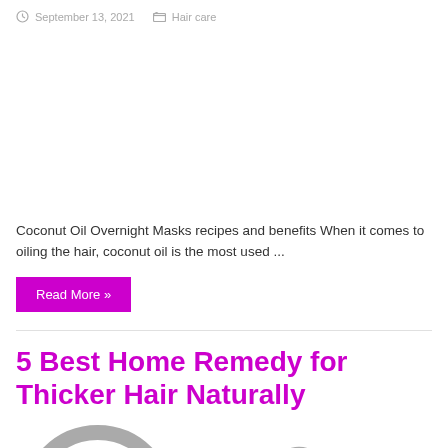September 13, 2021   Hair care
Coconut Oil Overnight Masks recipes and benefits When it comes to oiling the hair, coconut oil is the most used ...
Read More »
5 Best Home Remedy for Thicker Hair Naturally
September 13, 2021   Hair care